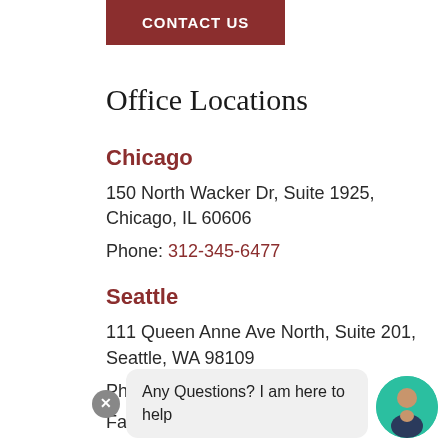CONTACT US
Office Locations
Chicago
150 North Wacker Dr, Suite 1925, Chicago, IL 60606
Phone: 312-345-6477
Seattle
111 Queen Anne Ave North, Suite 201, Seattle, WA 98109
Phone: 206-752-...
Fax: 312-939-0309